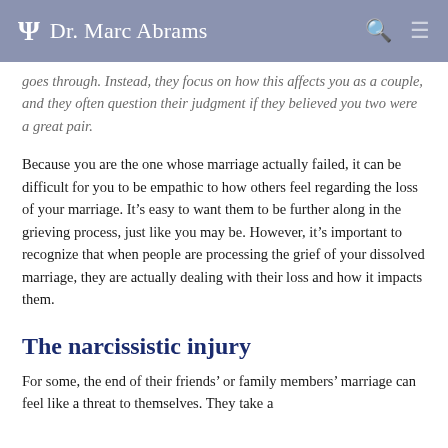Dr. Marc Abrams
goes through. Instead, they focus on how this affects you as a couple, and they often question their judgment if they believed you two were a great pair.
Because you are the one whose marriage actually failed, it can be difficult for you to be empathic to how others feel regarding the loss of your marriage. It’s easy to want them to be further along in the grieving process, just like you may be. However, it’s important to recognize that when people are processing the grief of your dissolved marriage, they are actually dealing with their loss and how it impacts them.
The narcissistic injury
For some, the end of their friends’ or family members’ marriage can feel like a threat to themselves. They take a